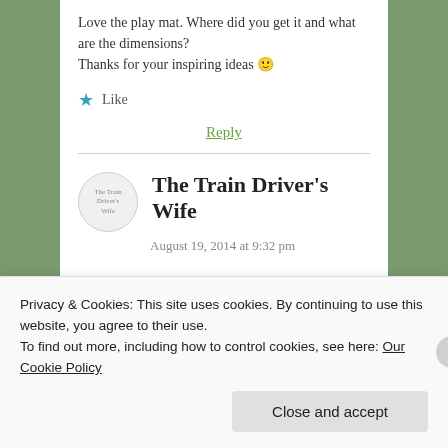Love the play mat. Where did you get it and what are the dimensions?
Thanks for your inspiring ideas 🙂
★ Like
Reply
The Train Driver's Wife
August 19, 2014 at 9:32 pm
Privacy & Cookies: This site uses cookies. By continuing to use this website, you agree to their use.
To find out more, including how to control cookies, see here: Our Cookie Policy